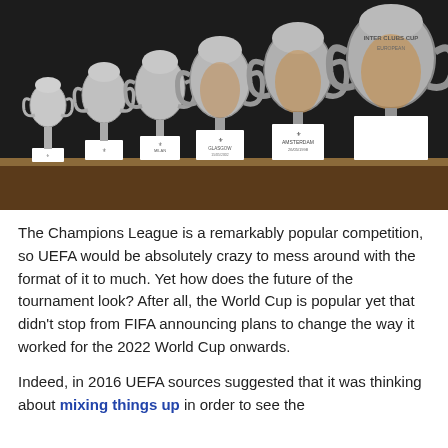[Figure (photo): A row of UEFA Champions League trophies (silver cups with handles) displayed on white pedestals against a dark background, with Real Madrid crests and location labels including Glasgow and Amsterdam visible on the bases.]
The Champions League is a remarkably popular competition, so UEFA would be absolutely crazy to mess around with the format of it to much. Yet how does the future of the tournament look? After all, the World Cup is popular yet that didn't stop from FIFA announcing plans to change the way it worked for the 2022 World Cup onwards.
Indeed, in 2016 UEFA sources suggested that it was thinking about mixing things up in order to see the